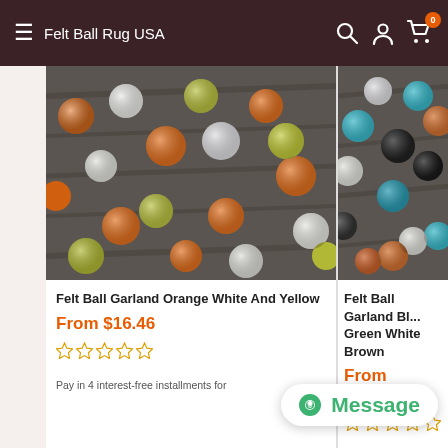Felt Ball Rug USA
[Figure (photo): Felt ball garland product photo showing orange, white, and yellow/green felt balls scattered on a dark wooden surface.]
Felt Ball Garland Orange White And Yellow
From $16.46
[Figure (other): Five empty star rating icons in orange/gold outline.]
Pay in 4 interest-free installments for
[Figure (photo): Felt ball garland product photo showing blue/teal, white, orange/brown felt balls on a dark wooden surface.]
Felt Ball Garland Bl... Green White Brown
From $16.46
[Figure (other): Five empty star rating icons in orange/gold outline.]
Pay in 4 interest-free
[Figure (other): Green Message chat button overlay in bottom right corner.]